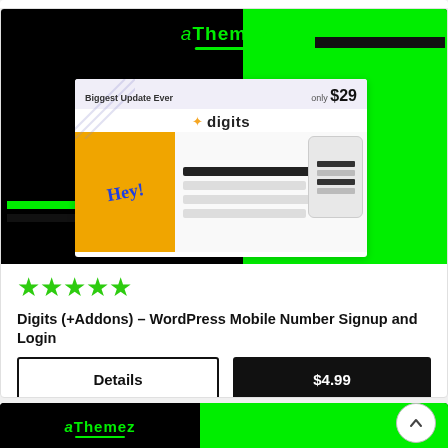[Figure (screenshot): aThemez product banner with black and green background, showing 'Digits' plugin screenshot card with 'Biggest Update Ever' and 'ONLY $29' text, digits logo, and UI mockups]
★★★★★
Digits (+Addons) – WordPress Mobile Number Signup and Login
Details
$4.99
[Figure (logo): aThemez logo in green on black background — bottom card preview]